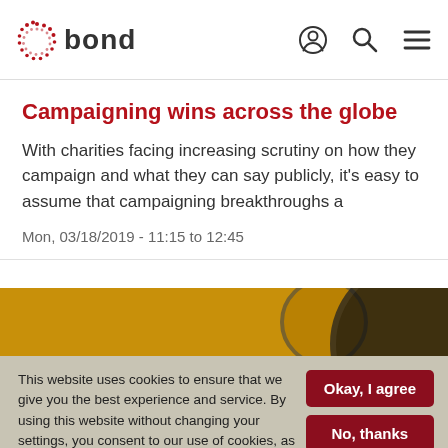bond
Campaigning wins across the globe
With charities facing increasing scrutiny on how they campaign and what they can say publicly, it's easy to assume that campaigning breakthroughs a
Mon, 03/18/2019 - 11:15 to 12:45
[Figure (photo): Partial view of a golden/yellow background with a dark circular shape, likely a globe or decorative element]
This website uses cookies to ensure that we give you the best experience and service. By using this website without changing your settings, you consent to our use of cookies, as set out in our privacy policy.